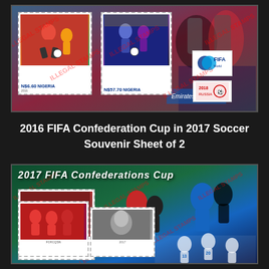[Figure (illustration): Top souvenir stamp sheet showing Nigeria football/soccer stamps. Two perforated stamps with denomination N$6.60 and N$57.70 depicting soccer players in action. Right side shows FIFA logo and Russia 2018 World Cup logo. Diagonal ILLEGAL STAMPS watermarks across the sheet.]
2016 FIFA Confederation Cup in 2017 Soccer Souvenir Sheet of 2
[Figure (illustration): Bottom souvenir stamp sheet titled '2017 FIFA Confederations Cup'. Contains Nigeria stamps (N$24.50 denomination, Lione Mane). Shows multiple soccer action scenes including players in red and blue jerseys. Three perforated stamps visible. Diagonal ILLEGAL STAMPS watermarks across the sheet.]